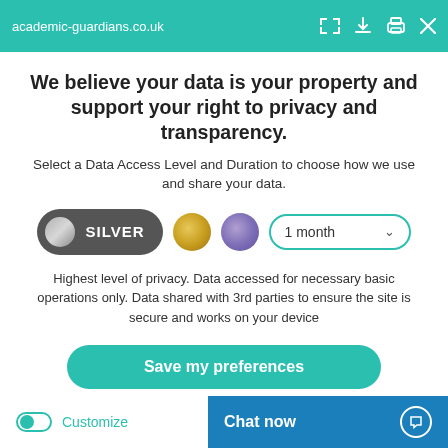academic-guardians.co.uk
We believe your data is your property and support your right to privacy and transparency.
Select a Data Access Level and Duration to choose how we use and share your data.
[Figure (infographic): Data access level selector with Silver button (selected/dark), gold circle, purple circle, and 1 month dropdown]
Highest level of privacy. Data accessed for necessary basic operations only. Data shared with 3rd parties to ensure the site is secure and works on your device
Save my preferences
Customize
Chat now